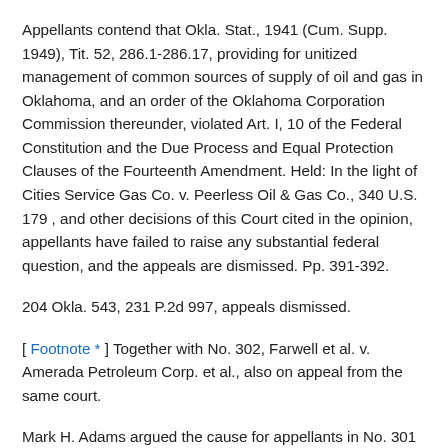Appellants contend that Okla. Stat., 1941 (Cum. Supp. 1949), Tit. 52, 286.1-286.17, providing for unitized management of common sources of supply of oil and gas in Oklahoma, and an order of the Oklahoma Corporation Commission thereunder, violated Art. I, 10 of the Federal Constitution and the Due Process and Equal Protection Clauses of the Fourteenth Amendment. Held: In the light of Cities Service Gas Co. v. Peerless Oil & Gas Co., 340 U.S. 179 , and other decisions of this Court cited in the opinion, appellants have failed to raise any substantial federal question, and the appeals are dismissed. Pp. 391-392.
204 Okla. 543, 231 P.2d 997, appeals dismissed.
[ Footnote * ] Together with No. 302, Farwell et al. v. Amerada Petroleum Corp. et al., also on appeal from the same court.
Mark H. Adams argued the cause for appellants in No. 301